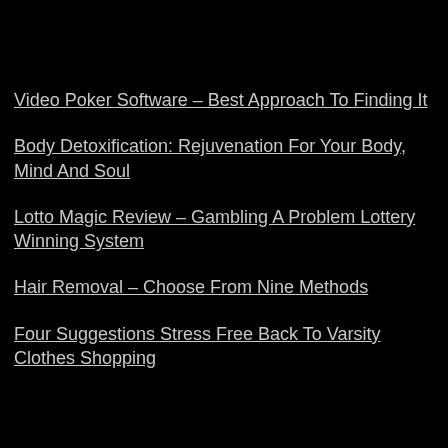Video Poker Software – Best Approach To Finding It
Body Detoxification: Rejuvenation For Your Body, Mind And Soul
Lotto Magic Review – Gambling A Problem Lottery Winning System
Hair Removal – Choose From Nine Methods
Four Suggestions Stress Free Back To Varsity Clothes Shopping